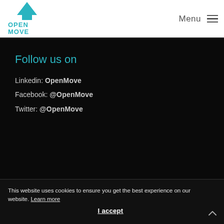[Figure (logo): OpenMove logo: teal upward arrow above teal text reading OPEN MOVE]
Menu ≡
Follow us on
Linkedin: OpenMove
Facebook: @OpenMove
Twitter: @OpenMove
This website uses cookies to ensure you get the best experience on our website. Learn more
I accept